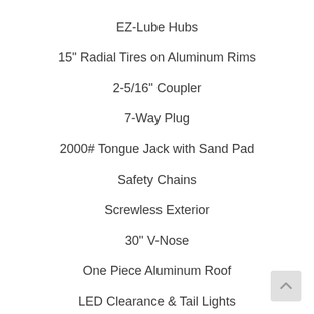EZ-Lube Hubs
15" Radial Tires on Aluminum Rims
2-5/16" Coupler
7-Way Plug
2000# Tongue Jack with Sand Pad
Safety Chains
Screwless Exterior
30" V-Nose
One Piece Aluminum Roof
LED Clearance & Tail Lights